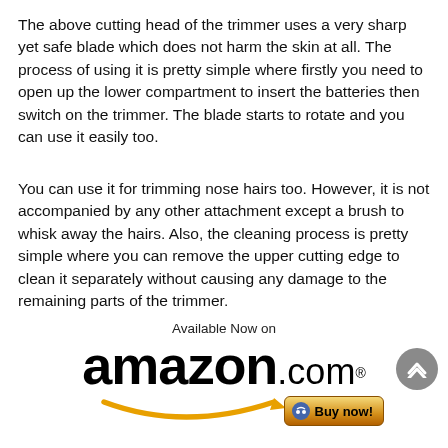The above cutting head of the trimmer uses a very sharp yet safe blade which does not harm the skin at all. The process of using it is pretty simple where firstly you need to open up the lower compartment to insert the batteries then switch on the trimmer. The blade starts to rotate and you can use it easily too.
You can use it for trimming nose hairs too. However, it is not accompanied by any other attachment except a brush to whisk away the hairs. Also, the cleaning process is pretty simple where you can remove the upper cutting edge to clean it separately without causing any damage to the remaining parts of the trimmer.
[Figure (logo): Amazon.com logo with 'Available Now on' text above, orange smile/arrow swoosh below the text, and a 'Buy now!' button. A grey circular scroll-up button appears to the right.]